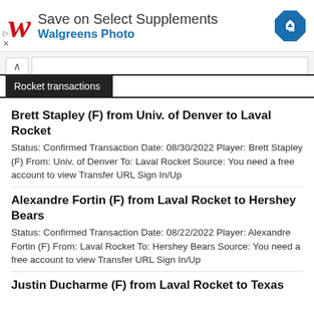[Figure (other): Walgreens advertisement banner: red stylized W logo, text 'Save on Select Supplements' and 'Walgreens Photo' in blue, blue diamond navigation icon]
Rocket transactions
Brett Stapley (F) from Univ. of Denver to Laval Rocket
Status: Confirmed Transaction Date: 08/30/2022 Player: Brett Stapley (F) From: Univ. of Denver To: Laval Rocket Source: You need a free account to view Transfer URL Sign In/Up
Alexandre Fortin (F) from Laval Rocket to Hershey Bears
Status: Confirmed Transaction Date: 08/22/2022 Player: Alexandre Fortin (F) From: Laval Rocket To: Hershey Bears Source: You need a free account to view Transfer URL Sign In/Up
Justin Ducharme (F) from Laval Rocket to Texas